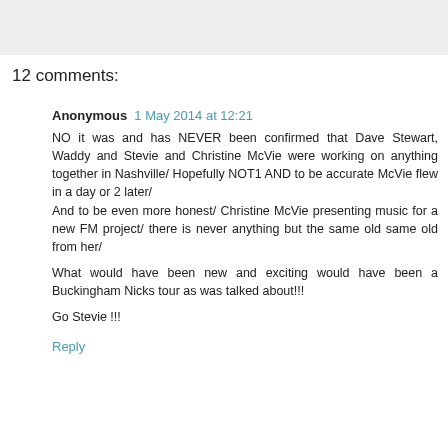12 comments:
Anonymous 1 May 2014 at 12:21
NO it was and has NEVER been confirmed that Dave Stewart, Waddy and Stevie and Christine McVie were working on anything together in Nashville/ Hopefully NOT1 AND to be accurate McVie flew in a day or 2 later/
And to be even more honest/ Christine McVie presenting music for a new FM project/ there is never anything but the same old same old from her/

What would have been new and exciting would have been a Buckingham Nicks tour as was talked about!!!

Go Stevie !!!

Reply